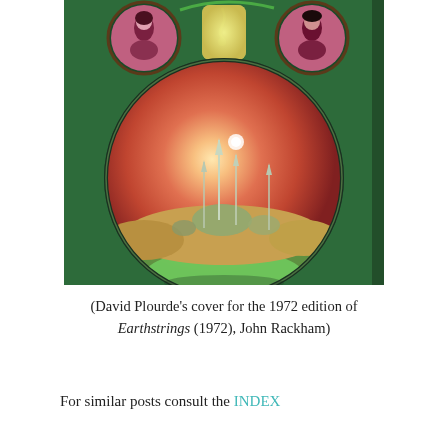[Figure (photo): Book cover of Earthstrings (1972) by John Rackham. Cover art by David Plourde. A green-background cover featuring a large round flask/retort shape filled with a reddish-orange gradient sky and futuristic city spires and domes in a desert landscape. Two circular portrait medallions in the upper corners show stylized figures against pink/mauve backgrounds, connected by a green vine or string.]
(David Plourde's cover for the 1972 edition of Earthstrings (1972), John Rackham)
For similar posts consult the INDEX